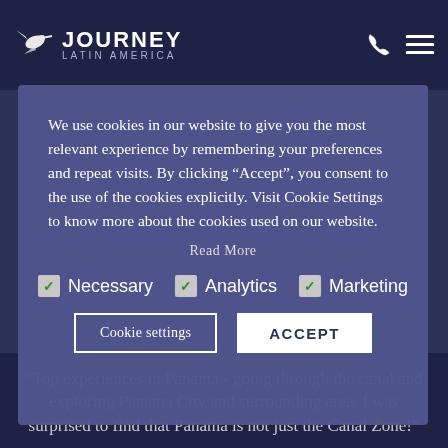JOURNEY LATIN AMERICA
We use cookies in our website to give you the most relevant experience by remembering your preferences and repeat visits. By clicking “Accept”, you consent to the use of the cookies explicitly. Visit Cookie Settings to know more about the cookies used on our website.
Read More
Necessary  Analytics  Marketing
Cookie settings  ACCEPT
“Top experiences in Panama - going through the canal and exploring Panama City and surrounding area. I was surprised to find that Panama is not just the Canal Zone!”